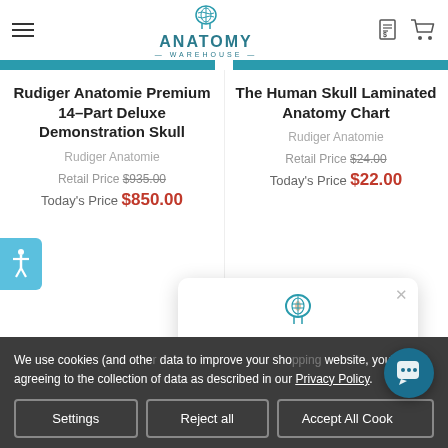Anatomy Warehouse
Rudiger Anatomie Premium 14-Part Deluxe Demonstration Skull
Rudiger Anatomie
Retail Price $935.00
Today's Price $850.00
The Human Skull Laminated Anatomy Chart
Rudiger Anatomie
Retail Price $24.00
Today's Price $22.00
Need help? Here are common topics people ask about.
We use cookies (and other data to improve your shopping website, you're agreeing to the collection of data as described in our Privacy Policy.
Settings | Reject all | Accept All Cookies